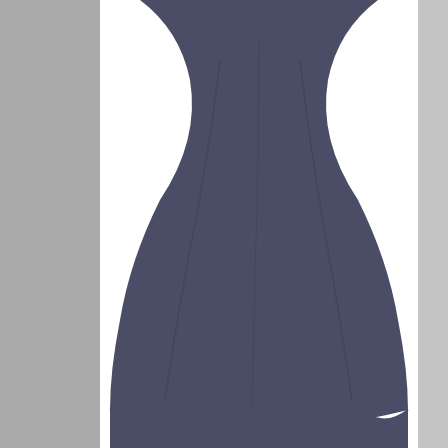[Figure (photo): Navy pleated wool circle skirt product photo. Left side shows a gray thumbnail strip. Center shows the main navy/dark blue skirt fabric with wavy pleated hem against white background. Right edge shows another gray thumbnail strip.]
● ○ ○ ○ ○ ○ ○ (image carousel dots, first dot active)
DE PINNA
1960s De Pinna Navy Pleated Wool Long Circle Skirt
$50.00
SIZE